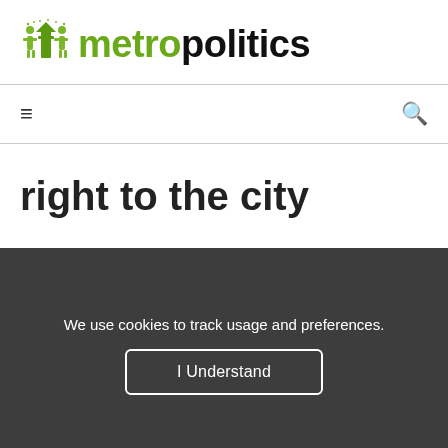metropolitics
≡   🔍
right to the city
We use cookies to track usage and preferences.
I Understand